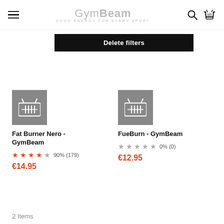GymBeam — GOOD ENERGY FOR EVERY SPORT
Delete filters
[Figure (screenshot): Product card for Fat Burner Nero - GymBeam with shopping basket icon, 4.5 star rating 90% (179), price €14.95]
[Figure (screenshot): Product card for FueBurn - GymBeam with shopping basket icon, 0 star rating 0% (0), price €12.95]
2 Items